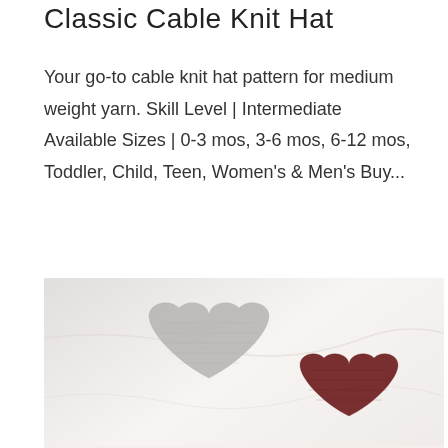Classic Cable Knit Hat
Your go-to cable knit hat pattern for medium weight yarn. Skill Level | Intermediate Available Sizes | 0-3 mos, 3-6 mos, 6-12 mos, Toddler, Child, Teen, Women's & Men's Buy...
[Figure (photo): Two knitted heart shapes on a white fabric background — a grey heart on the left and a dark red/burgundy heart on the right, partially cropped at the bottom.]